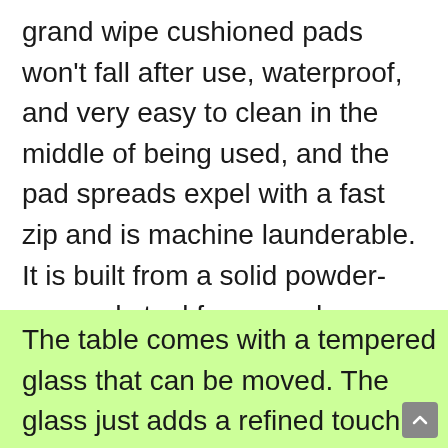grand wipe cushioned pads won't fall after use, waterproof, and very easy to clean in the middle of being used, and the pad spreads expel with a fast zip and is machine launderable. It is built from a solid powder-covered steel frame and handwoven climate-safe PE rattan wicker. The gradient shades of coffee provide a very different feel and look for this patio.
The table comes with a tempered glass that can be moved. The glass just adds a refined touch and will let you place food, decorative